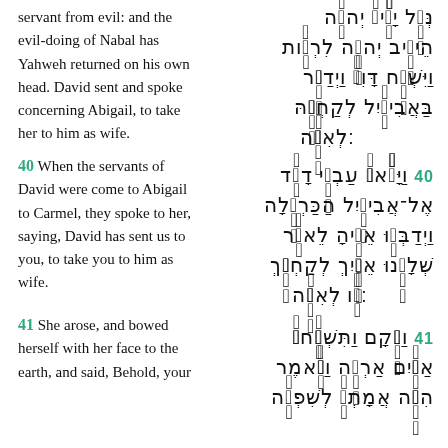servant from evil: and the evil-doing of Nabal has Yahweh returned on his own head. David sent and spoke concerning Abigail, to take her to him as wife.
(Hebrew text continuation — verses ending verse 39)
40 When the servants of David were come to Abigail to Carmel, they spoke to her, saying, David has sent us to you, to take you to him as wife.
(Hebrew text verse 40)
41 She arose, and bowed herself with her face to the earth, and said, Behold, your
(Hebrew text verse 41)